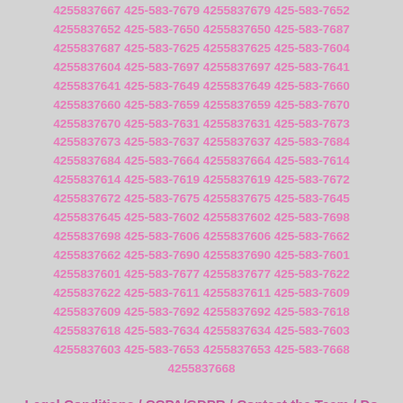4255837667 425-583-7679 4255837679 425-583-7652 4255837652 425-583-7650 4255837650 425-583-7687 4255837687 425-583-7625 4255837625 425-583-7604 4255837604 425-583-7697 4255837697 425-583-7641 4255837641 425-583-7649 4255837649 425-583-7660 4255837660 425-583-7659 4255837659 425-583-7670 4255837670 425-583-7631 4255837631 425-583-7673 4255837673 425-583-7637 4255837637 425-583-7684 4255837684 425-583-7664 4255837664 425-583-7614 4255837614 425-583-7619 4255837619 425-583-7672 4255837672 425-583-7675 4255837675 425-583-7645 4255837645 425-583-7602 4255837602 425-583-7698 4255837698 425-583-7606 4255837606 425-583-7662 4255837662 425-583-7690 4255837690 425-583-7601 4255837601 425-583-7677 4255837677 425-583-7622 4255837622 425-583-7611 4255837611 425-583-7609 4255837609 425-583-7692 4255837692 425-583-7618 4255837618 425-583-7634 4255837634 425-583-7603 4255837603 425-583-7653 4255837653 425-583-7668 4255837668
Legal Conditions / CCPA/GDPR / Contact the Team / Do Not Sell My Info (California Residents)